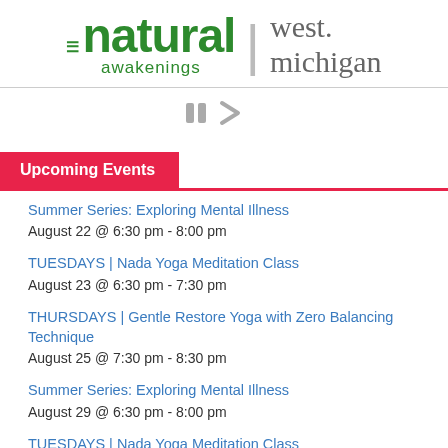natural awakenings | west michigan
[Figure (screenshot): Pause and next navigation icons (two vertical bars and a right-arrow chevron) in gray]
Upcoming Events
Summer Series: Exploring Mental Illness
August 22 @ 6:30 pm - 8:00 pm
TUESDAYS | Nada Yoga Meditation Class
August 23 @ 6:30 pm - 7:30 pm
THURSDAYS | Gentle Restore Yoga with Zero Balancing Technique
August 25 @ 7:30 pm - 8:30 pm
Summer Series: Exploring Mental Illness
August 29 @ 6:30 pm - 8:00 pm
TUESDAYS | Nada Yoga Meditation Class (partial, cut off)